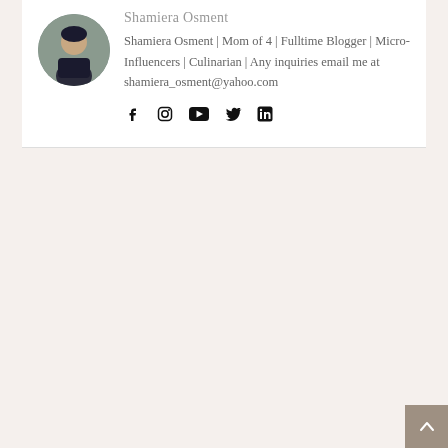[Figure (photo): Circular avatar photo of a person wearing dark clothing, standing near a door or wall]
Shamiera Osment
Shamiera Osment | Mom of 4 | Fulltime Blogger | Micro-Influencers | Culinarian | Any inquiries email me at shamiera_osment@yahoo.com
[Figure (infographic): Row of social media icons: Facebook, Instagram, YouTube, Twitter, LinkedIn]